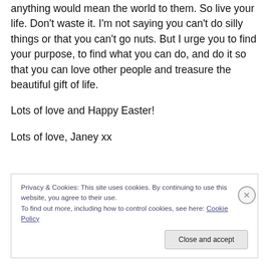anything would mean the world to them. So live your life. Don't waste it. I'm not saying you can't do silly things or that you can't go nuts. But I urge you to find your purpose, to find what you can do, and do it so that you can love other people and treasure the beautiful gift of life.
Lots of love and Happy Easter!
Lots of love, Janey xx
Privacy & Cookies: This site uses cookies. By continuing to use this website, you agree to their use. To find out more, including how to control cookies, see here: Cookie Policy